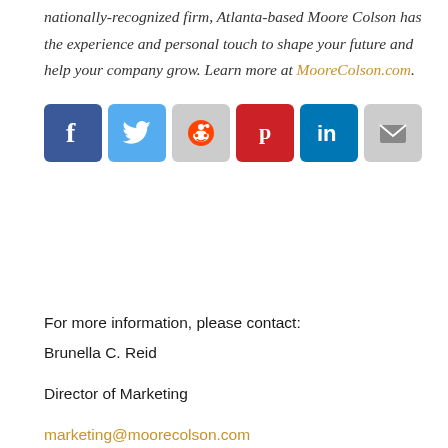nationally-recognized firm, Atlanta-based Moore Colson has the experience and personal touch to shape your future and help your company grow. Learn more at MooreColson.com.
[Figure (infographic): Row of six social media share buttons: Facebook (blue), Twitter (light blue), Reddit (gray), Pinterest (red), LinkedIn (dark blue), Email (gray)]
For more information, please contact:
Brunella C. Reid
Director of Marketing
marketing@moorecolson.com